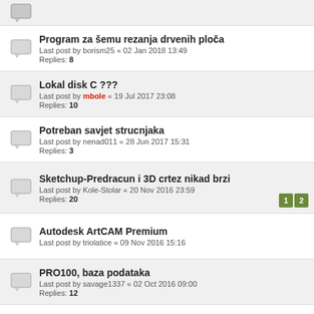Program za šemu rezanja drvenih ploča
Last post by borism25 « 02 Jan 2018 13:49
Replies: 8
Lokal disk C ???
Last post by mbole « 19 Jul 2017 23:08
Replies: 10
Potreban savjet strucnjaka
Last post by nenad011 « 28 Jun 2017 15:31
Replies: 3
Sketchup-Predracun i 3D crtez nikad brzi
Last post by Kole-Stolar « 20 Nov 2016 23:59
Replies: 20
Autodesk ArtCAM Premium
Last post by triolatice « 09 Nov 2016 15:16
PRO100, baza podataka
Last post by savage1337 « 02 Oct 2016 09:00
Replies: 12
Corpus
Last post by mbole « 24 Sep 2016 01:21
Replies: 57
MaxCut PRO v2
Last post by Saravalovinovacki « 18 Jun 2016 21:55
Replies: 12
Kitchendraw 6.5 problem